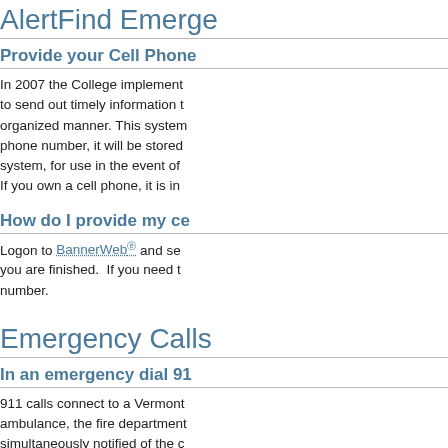AlertFind Emerge...
Provide your Cell Phone...
In 2007 the College implement... to send out timely information t... organized manner. This system... phone number, it will be stored... system, for use in the event of... If you own a cell phone, it is in...
How do I provide my ce...
Logon to BannerWeb and se... you are finished. If you need to... number.
Emergency Calls
In an emergency dial 91...
911 calls connect to a Vermont... ambulance, the fire department... simultaneously notified of the c...